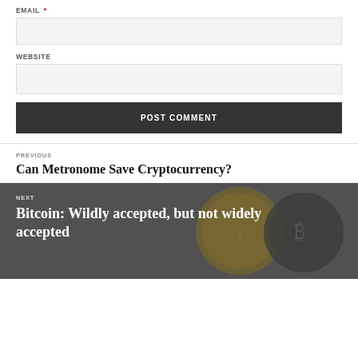EMAIL *
WEBSITE
POST COMMENT
PREVIOUS
Can Metronome Save Cryptocurrency?
NEXT
Bitcoin: Wildly accepted, but not widely accepted
[Figure (photo): Two hands holding coins — a gold US dollar coin and a dark Bitcoin coin — against a blurred background, used as a decorative image for the 'Next' post navigation block.]